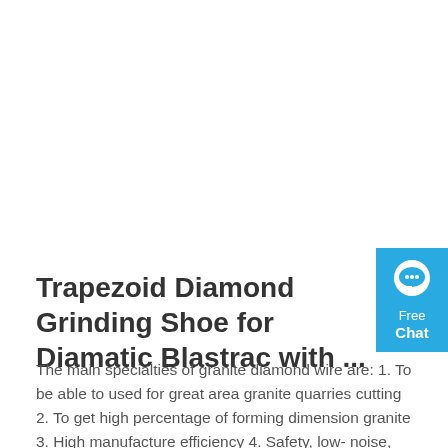[Figure (other): Blue chat widget with speech bubble icon, 'Free Chat' label]
Trapezoid Diamond Grinding Shoe for Diamatic Blastrac with ...
The main specialties of granite diamond wire are: 1. To be able to used for great area granite quarries cutting 2. To get high percentage of forming dimension granite 3. High manufacture efficiency 4. Safety, low- noise, no- dust and friendly surroundings 5. Low cutting cost.
Get Price